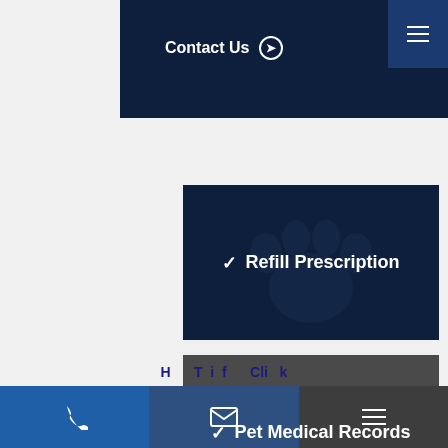Contact Us →
[Figure (screenshot): Refill Prescription button - dark navy background with paw print watermark and checkmark icon]
[Figure (screenshot): Pet Medical Records button - dark gray background with paw print watermark and checkmark icon]
[Figure (screenshot): Emergencies button - red background with cross/paw watermark and info icon]
Phone | Email | Menu navigation bar